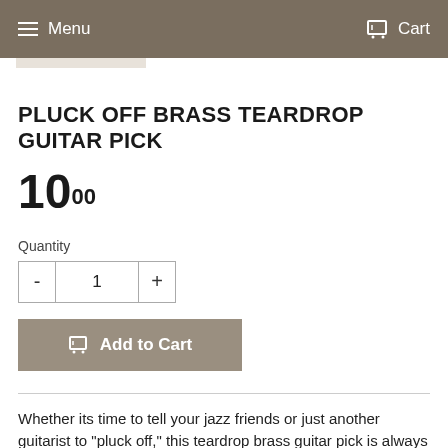Menu  Cart
PLUCK OFF BRASS TEARDROP GUITAR PICK
10 00
Quantity
- 1 +
Add to Cart
Whether its time to tell your jazz friends or just another guitarist to "pluck off," this teardrop brass guitar pick is always